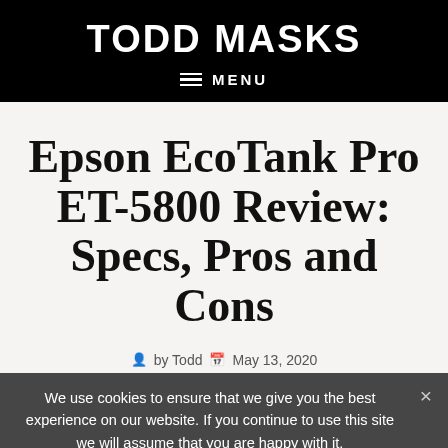TODD MASKS
MENU
Epson EcoTank Pro ET-5800 Review: Specs, Pros and Cons
by Todd  May 13, 2020
We use cookies to ensure that we give you the best experience on our website. If you continue to use this site we will assume that you are happy with it.
Ok  Privacy policy